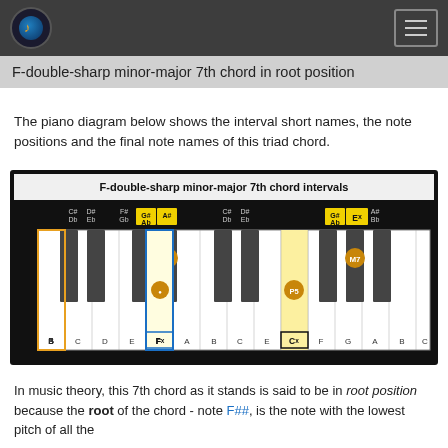F-double-sharp minor-major 7th chord in root position
The piano diagram below shows the interval short names, the note positions and the final note names of this triad chord.
[Figure (infographic): Piano keyboard diagram showing F-double-sharp minor-major 7th chord intervals with labeled keys: Fx (root, orange highlight), A# (m3, black key with orange circle), Cx (P5, yellow highlight), Ex (M7, black key with orange circle). Title: F-double-sharp minor-major 7th chord intervals. Watermark: basicmusictheory.com]
In music theory, this 7th chord as it stands is said to be in root position because the root of the chord - note F##, is the note with the lowest pitch of all the